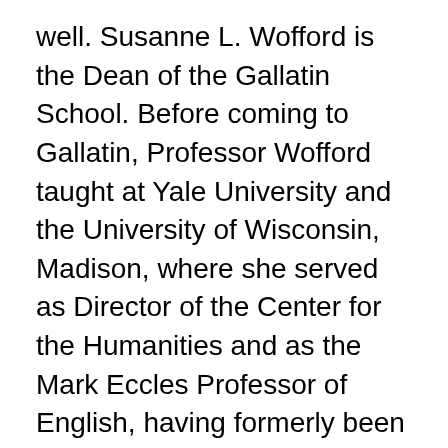well. Susanne L. Wofford is the Dean of the Gallatin School. Before coming to Gallatin, Professor Wofford taught at Yale University and the University of Wisconsin, Madison, where she served as Director of the Center for the Humanities and as the Mark Eccles Professor of English, having formerly been Chair of the Divisional Committee for Arts and Humanities and Director of Graduate Studies in English.
76-100 av 165: Hitta rätt Susanne Lindgren i Sverige. Se telefonnummer, adress, karta, grannar, jobb mm.
Zoo trollhättan
Accounting and ested me. I am grateful to my primary supervisor Professor Lars Öst- with origins